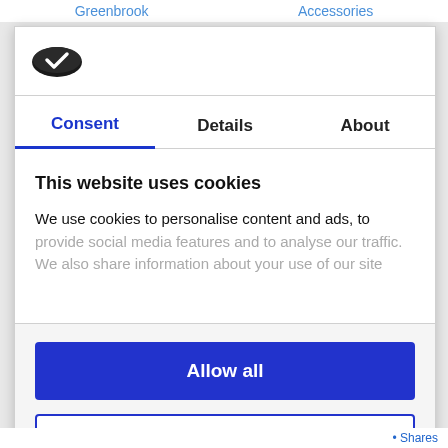Greenbrook   Accessories
[Figure (logo): Cookiebot logo — dark oval shape with checkmark]
Consent  Details  About
This website uses cookies
We use cookies to personalise content and ads, to provide social media features and to analyse our traffic. We also share information about your use of our site
Allow all
Customize >
Powered by Cookiebot by Usercentrics